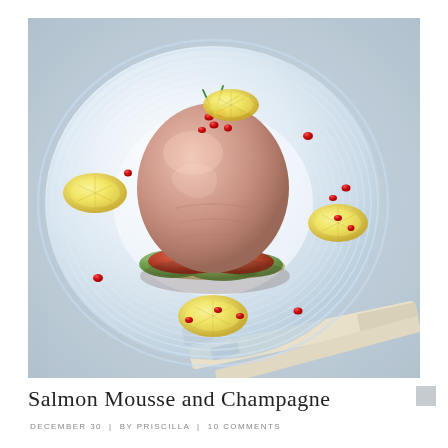[Figure (photo): Food photography of a salmon mousse dome plated on a clear glass plate with concentric ring texture. The mousse is garnished with chives and pomegranate seeds on top. Beneath the mousse are slices of tomato and cucumber on a breadcrumb base. Around the plate are lemon slices and scattered pomegranate seeds. Cutlery (knife and fork) visible at bottom right. Blue-grey linen napkin in background.]
Salmon Mousse and Champagne
DECEMBER 30  |  BY PRISCILLA  |  10 COMMENTS